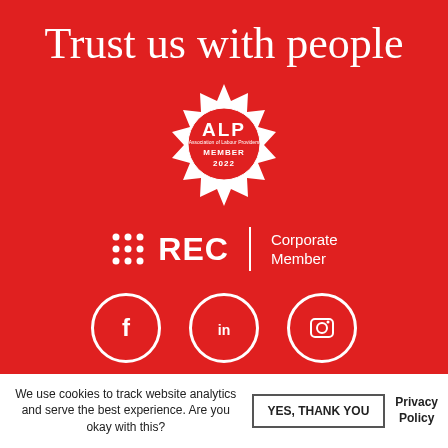Trust us with people
[Figure (logo): ALP (Association of Labour Providers) Member 2022 badge — white starburst/seal shape on red background with ALP text, small text 'Association of Labour Providers', MEMBER 2022]
[Figure (logo): REC Corporate Member logo — white dots grid icon, REC text in bold white, vertical white divider line, 'Corporate Member' text in white]
[Figure (other): Three white social media icons in white circle outlines: Facebook (f), LinkedIn (in), Instagram (camera)]
We use cookies to track website analytics and serve the best experience. Are you okay with this?
YES, THANK YOU
Privacy Policy